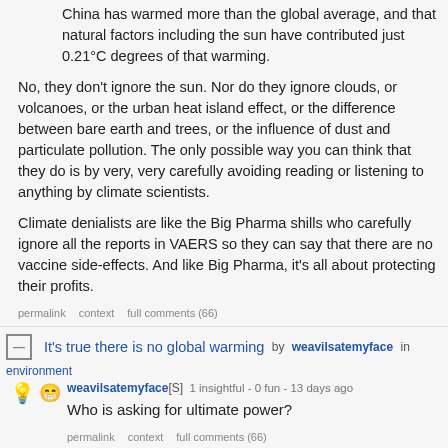China has warmed more than the global average, and that natural factors including the sun have contributed just 0.21°C degrees of that warming.
No, they don't ignore the sun. Nor do they ignore clouds, or volcanoes, or the urban heat island effect, or the difference between bare earth and trees, or the influence of dust and particulate pollution. The only possible way you can think that they do is by very, very carefully avoiding reading or listening to anything by climate scientists.
Climate denialists are like the Big Pharma shills who carefully ignore all the reports in VAERS so they can say that there are no vaccine side-effects. And like Big Pharma, it's all about protecting their profits.
permalink   context   full comments (66)
It's true there is no global warming by weavilsatemyface in environment
weavilsatemyface[S] 1 insightful - 0 fun - 13 days ago
Who is asking for ultimate power?
permalink   context   full comments (66)
Some Epson printers are hard-coded to stop working until a software...